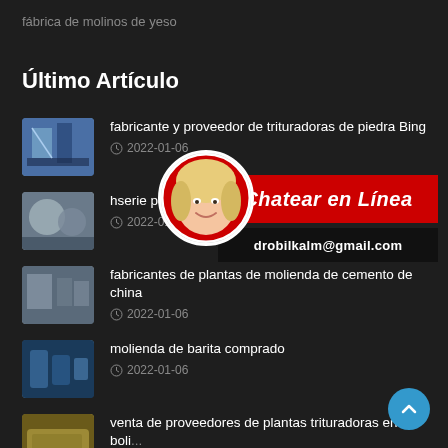fábrica de molinos de yeso
Último Artículo
fabricante y proveedor de trituradoras de piedra Bing
2022-01-06
hserie pcl vsi chan...
2022-01-06
[Figure (infographic): Chat overlay with blonde woman avatar, red box reading 'Chatear en Línea', and black box with 'drobilkalm@gmail.com']
fabricantes de plantas de molienda de cemento de china
2022-01-06
molienda de barita comprado
2022-01-06
venta de proveedores de plantas trituradoras en boli...
2022-01-06